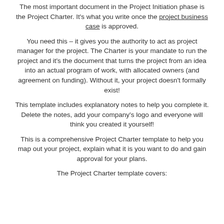The most important document in the Project Initiation phase is the Project Charter. It's what you write once the project business case is approved.
You need this – it gives you the authority to act as project manager for the project. The Charter is your mandate to run the project and it's the document that turns the project from an idea into an actual program of work, with allocated owners (and agreement on funding). Without it, your project doesn't formally exist!
This template includes explanatory notes to help you complete it. Delete the notes, add your company's logo and everyone will think you created it yourself!
This is a comprehensive Project Charter template to help you map out your project, explain what it is you want to do and gain approval for your plans.
The Project Charter template covers: